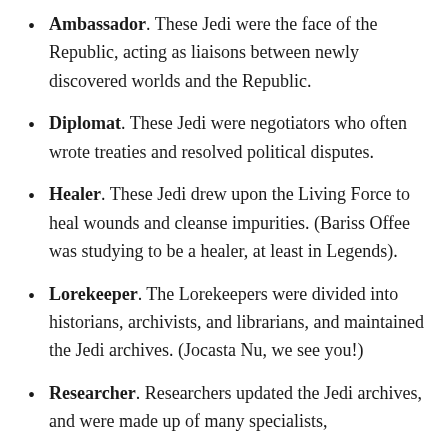Ambassador. These Jedi were the face of the Republic, acting as liaisons between newly discovered worlds and the Republic.
Diplomat. These Jedi were negotiators who often wrote treaties and resolved political disputes.
Healer. These Jedi drew upon the Living Force to heal wounds and cleanse impurities. (Bariss Offee was studying to be a healer, at least in Legends).
Lorekeeper. The Lorekeepers were divided into historians, archivists, and librarians, and maintained the Jedi archives. (Jocasta Nu, we see you!)
Researcher. Researchers updated the Jedi archives, and were made up of many specialists,